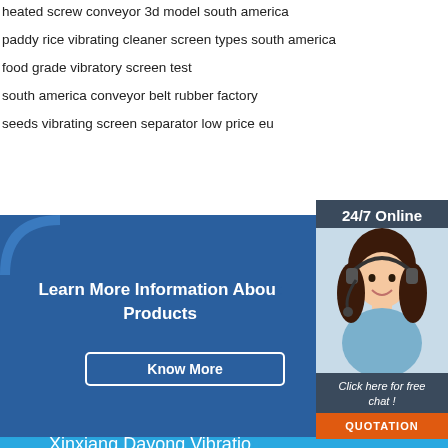heated screw conveyor 3d model south america
paddy rice vibrating cleaner screen types south america
food grade vibratory screen test
south america conveyor belt rubber factory
seeds vibrating screen separator low price eu
24/7 Online
[Figure (photo): Customer service agent woman with headset smiling]
Click here for free chat !
QUOTATION
Learn More Information About Products
Know More
Xinxiang Dayong Vibration Equipment Co., Ltd.
Address:
Mobile:+86 15517160690
E-mail:kongweihui01@gmail.com
[Figure (logo): TOP logo orange triangle with dots]